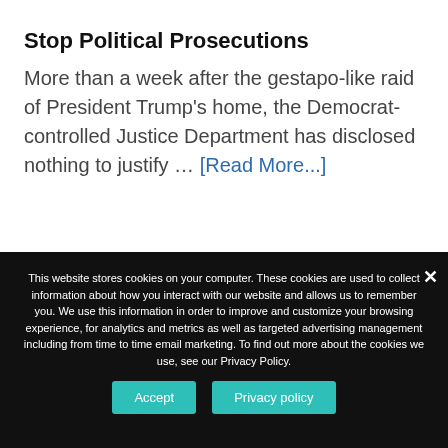Stop Political Prosecutions
More than a week after the gestapo-like raid of President Trump's home, the Democrat-controlled Justice Department has disclosed nothing to justify … [Read More...]
This website stores cookies on your computer. These cookies are used to collect information about how you interact with our website and allows us to remember you. We use this information in order to improve and customize your browsing experience, for analytics and metrics as well as targeted advertising management including from time to time email marketing. To find out more about the cookies we use, see our Privacy Policy.